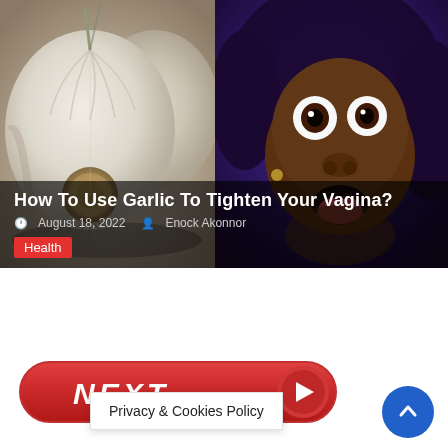[Figure (photo): Left half: close-up photo of white garlic bulbs. Right half: photo of a surprised Black woman with wide eyes and open mouth, purple/dark background.]
How To Use Garlic To Tighten Your Vagina?
August 18, 2022   Enock Akonnor
Health
NEXT
Privacy & Cookies Policy